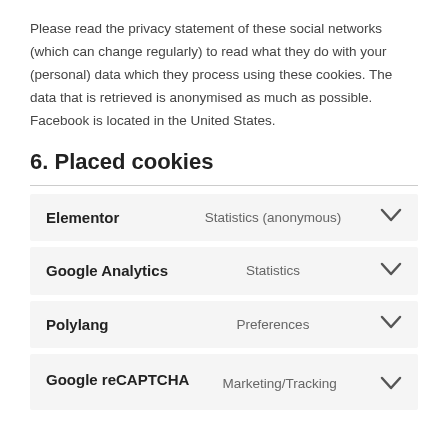Please read the privacy statement of these social networks (which can change regularly) to read what they do with your (personal) data which they process using these cookies. The data that is retrieved is anonymised as much as possible. Facebook is located in the United States.
6. Placed cookies
| Name | Category |
| --- | --- |
| Elementor | Statistics (anonymous) |
| Google Analytics | Statistics |
| Polylang | Preferences |
| Google reCAPTCHA | Marketing/Tracking |